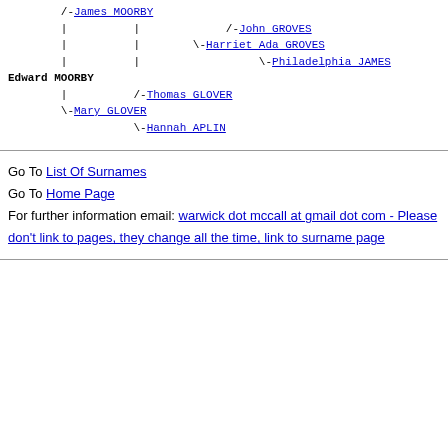[Figure (other): Genealogy tree showing ancestry of Edward MOORBY with links to James MOORBY, John GROVES, Harriet Ada GROVES, Philadelphia JAMES, Thomas GLOVER, Mary GLOVER, Hannah APLIN]
Go To List Of Surnames
Go To Home Page
For further information email: warwick dot mccall at gmail dot com - Please don't link to pages, they change all the time, link to surname page